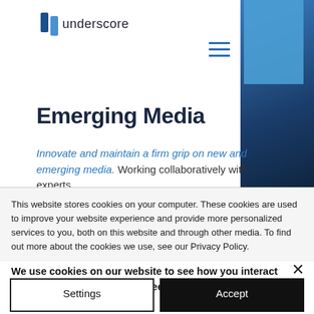[Figure (logo): Underscore logo with two blue rectangles and the word 'underscore']
[Figure (illustration): Blue image panel on the right side with a person in a suit, partially visible]
Emerging Media
Innovate and maintain a firm grip on new and emerging media. Working collaboratively with experts
This website stores cookies on your computer. These cookies are used to improve your website experience and provide more personalized services to you, both on this website and through other media. To find out more about the cookies we use, see our Privacy Policy.
We use cookies on our website to see how you interact with it. By accepting, you agree to our use of such cookies. Privacy Policy
Settings
Accept